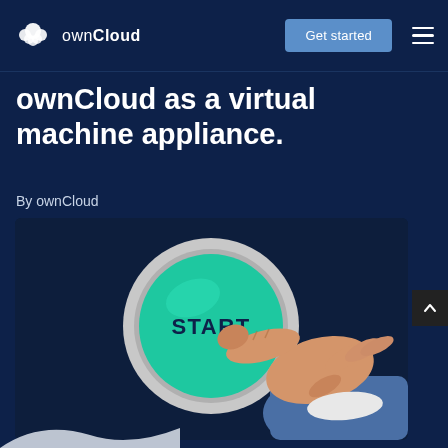ownCloud | Get started
ownCloud as a virtual machine appliance.
By ownCloud
[Figure (illustration): Illustration of a hand pressing a large green START button on a circular gray base, set against a dark navy background.]